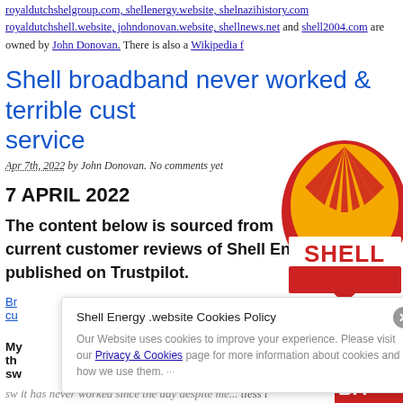royaldutchshelgroup.com, shellenergy.website, shelnazihistory.com royaldutchshell.website, johndonovan.website, shellnews.net and shell2004.com are owned by John Donovan. There is also a Wikipedia f
Shell broadband never worked & terrible customer service
Apr 7th, 2022 by John Donovan. No comments yet
7 APRIL 2022
The content below is sourced from current customer reviews of Shell Energy published on Trustpilot.
[Figure (logo): Shell logo - red and yellow scallop shell with SHELL text]
Broadband never worked & terrible customer service
My broadband never worked since the day they...
Shell Energy .website Cookies Policy - Our Website uses cookies to improve your experience. Please visit our Privacy & Cookies page for more information about cookies and how we use them.